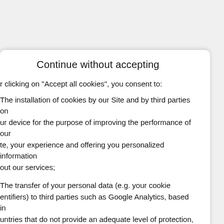Continue without accepting
By clicking on "Accept all cookies", you consent to:
The installation of cookies by our Site and by third parties on your device for the purpose of improving the performance of our site, your experience and offering you personalized information about our services;
The transfer of your personal data (e.g. your cookie identifiers) to third parties such as Google Analytics, based in countries that do not provide an adequate level of protection, and thus you accept a potential access to this data by local government authorities.
You are free to change your mind at any time by going to "Cookie Settings" or to refuse them without consequence on your use of the site. For more information and to know everything about the consequences of your choices you can consult the la Politique des cookies